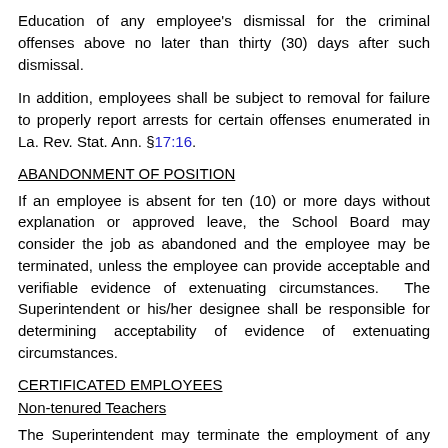Education of any employee's dismissal for the criminal offenses above no later than thirty (30) days after such dismissal.
In addition, employees shall be subject to removal for failure to properly report arrests for certain offenses enumerated in La. Rev. Stat. Ann. §17:16.
ABANDONMENT OF POSITION
If an employee is absent for ten (10) or more days without explanation or approved leave, the School Board may consider the job as abandoned and the employee may be terminated, unless the employee can provide acceptable and verifiable evidence of extenuating circumstances. The Superintendent or his/her designee shall be responsible for determining acceptability of evidence of extenuating circumstances.
CERTIFICATED EMPLOYEES
Non-tenured Teachers
The Superintendent may terminate the employment of any non-tenured teacher after providing such teacher with the